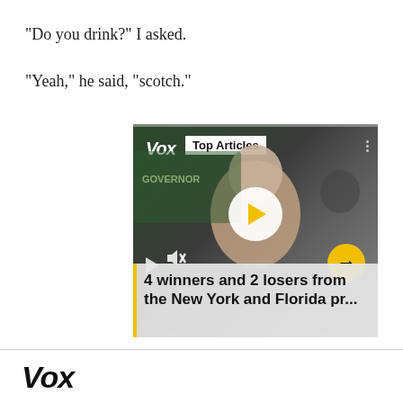"Do you drink?" I asked.
"Yeah," he said, "scotch."
[Figure (screenshot): Embedded Vox video player showing 'Top Articles' badge. Video shows an elderly man at a political event with 'FOR GOVERNOR' signage in background. Caption reads '4 winners and 2 losers from the New York and Florida pr...' Play button, mute icon, and yellow next-arrow button are visible.]
Vox